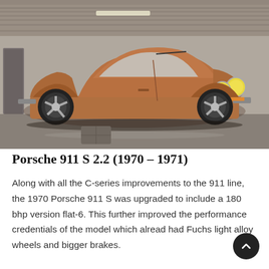[Figure (photo): Photograph of a brown/copper-colored Porsche 911 S 2.2 parked in front of a concrete and brick wall. The car has yellow headlights and Fuchs alloy wheels. Shot from a front three-quarter angle on a wet concrete surface.]
Porsche 911 S 2.2 (1970 – 1971)
Along with all the C-series improvements to the 911 line, the 1970 Porsche 911 S was upgraded to include a 180 bhp version flat-6. This further improved the performance credentials of the model which already had Fuchs light alloy wheels and bigger brakes.